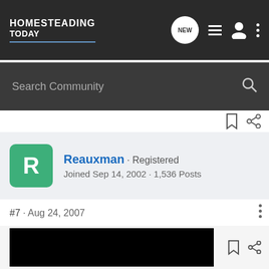HOMESTEADING TODAY
Search Community
Reauxman · Registered
Joined Sep 14, 2002 · 1,536 Posts
#7 · Aug 24, 2007
Mosquitoes will do that.